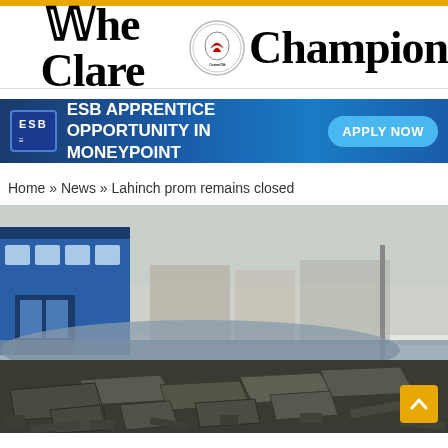The Clare Champion
[Figure (infographic): ESB Apprentice Opportunity in Moneypoint advertisement banner with ESB logo and Apply Now button]
Home » News » Lahinch prom remains closed
[Figure (photo): Damaged promenade at Lahinch with broken paving slabs and rubble scattered on the ground, flooded area visible, blue building with signage on left, other buildings and a pole in the background under overcast sky]